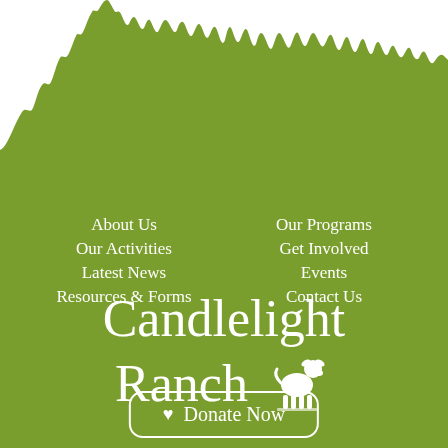[Figure (illustration): Green silhouette of a forest treeline (pine/fir trees) against a white sky at the top of the page]
About Us
Our Programs
Our Activities
Get Involved
Latest News
Events
Resources & Forms
Contact Us
Candlelight Ranch
Donate Now